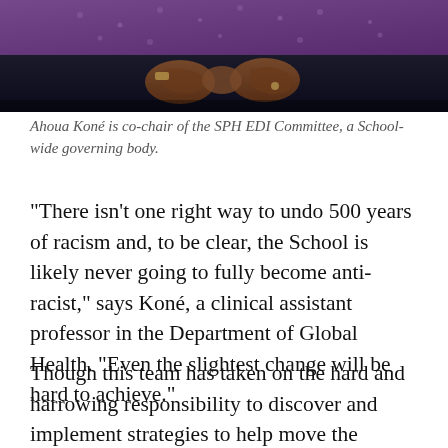[Figure (photo): Close-up photo of a person seated, hands clasped together, wearing a purple patterned top and dark pants. Only the torso and hands are visible.]
Ahoua Koné is co-chair of the SPH EDI Committee, a School-wide governing body.
“There isn’t one right way to undo 500 years of racism and, to be clear, the School is likely never going to fully become anti-racist,” says Koné, a clinical assistant professor in the Department of Global Health. “Even the slightest change will be hard to achieve.”
Though this team has taken on the hard and harrowing responsibility to discover and implement strategies to help move the School along its path, every person within the institution must also see themselves in this work. The positive news is that